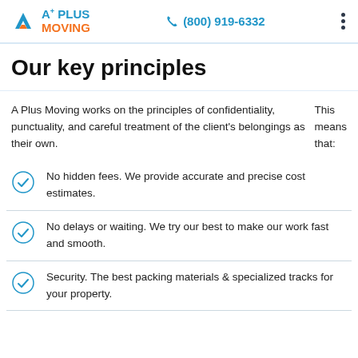A Plus Moving  (800) 919-6332
Our key principles
A Plus Moving works on the principles of confidentiality, punctuality, and careful treatment of the client's belongings as their own. This means that:
No hidden fees. We provide accurate and precise cost estimates.
No delays or waiting. We try our best to make our work fast and smooth.
Security. The best packing materials & specialized tracks for your property.